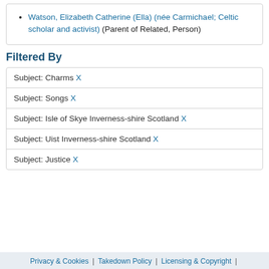Watson, Elizabeth Catherine (Ella) (née Carmichael; Celtic scholar and activist) (Parent of Related, Person)
Filtered By
| Subject: Charms X |
| Subject: Songs X |
| Subject: Isle of Skye Inverness-shire Scotland X |
| Subject: Uist Inverness-shire Scotland X |
| Subject: Justice X |
Privacy & Cookies | Takedown Policy | Licensing & Copyright |